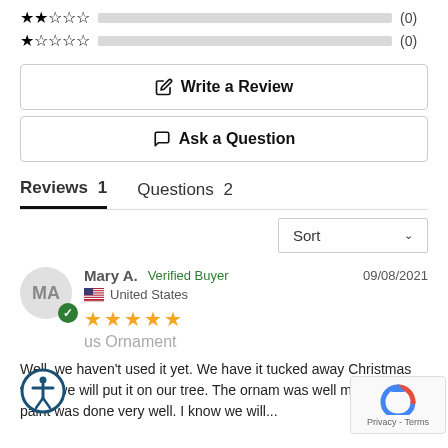[Figure (infographic): Two-star rating row with gray bar and (0) count]
[Figure (infographic): One-star rating row with gray bar and (0) count]
Write a Review
Ask a Question
Reviews 1   Questions 2
Sort
Mary A.   Verified Buyer   09/08/2021
United States
[Figure (infographic): 5-star yellow rating]
us Ornament
Well, we haven't used it yet. We have it tucked away Christmas when we will put it on our tree. The ornam was well made and the paint was done very well. I know we will...